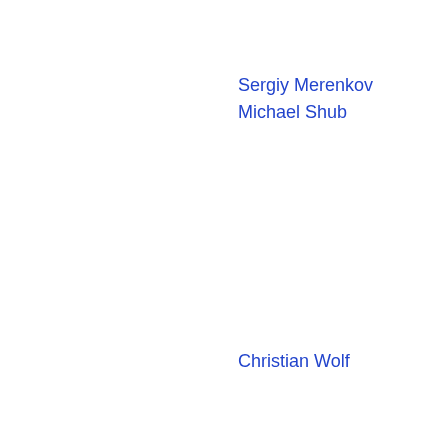rotation the
dynamics
Sergiy Merenkov
Michael Shub
Complex dy
Smooth erg
thermodyna
rotation the
dynamics.
Christian Wolf
Ergodic the
hyperbolic d
thermodyna
dimension t
dynamics
Geometry and Topology
Geometric and topological ideas a
of contemporary mathematics. Th
research is well-represented in thi
an active researcher in geometric 
particular interest in Thompson's
works in low-dimensional topolog